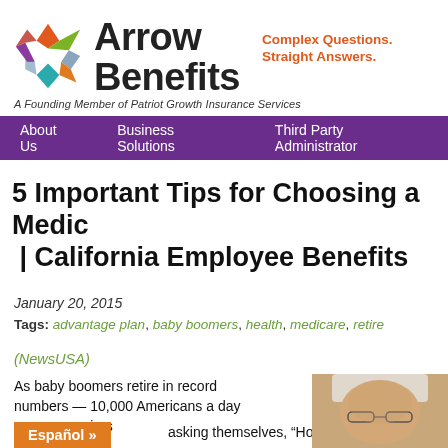Arrow Benefits — A Founding Member of Patriot Growth Insurance Services — Complex Questions. Straight Answers.
About Us | Business Solutions | Third Party Administrator
5 Important Tips for Choosing a Medicare | California Employee Benefits
January 20, 2015
Tags: advantage plan, baby boomers, health, medicare, retire
(NewsUSA)
As baby boomers retire in record numbers — 10,000 Americans a day — more seniors are asking themselves, "How
[Figure (photo): Close-up photo of an elderly person with glasses]